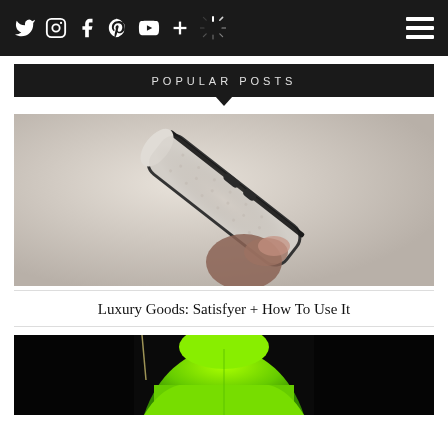Social media navigation bar with icons: Twitter, Instagram, Facebook, Pinterest, YouTube, Plus, Loader/Spinner, and hamburger menu
POPULAR POSTS
[Figure (photo): A hand holding a white/silver textured device (Satisfyer) diagonally against a light grey background, showing its textured surface and button details]
Luxury Goods: Satisfyer + How To Use It
[Figure (photo): Partial view of a person wearing a bright neon green hoodie from behind, against a dark/black background]